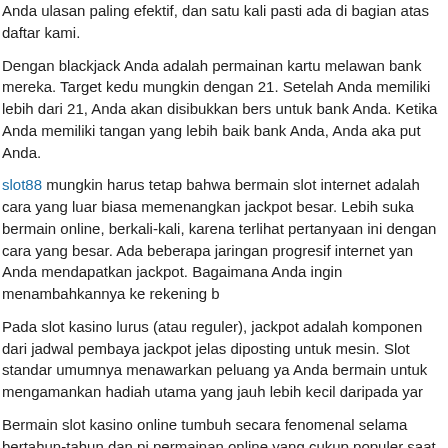Anda ulasan paling efektif, dan satu kali pasti ada di bagian atas daftar kami.
Dengan blackjack Anda adalah permainan kartu melawan bank mereka. Target kedu mungkin dengan 21. Setelah Anda memiliki lebih dari 21, Anda akan disibukkan bers untuk bank Anda. Ketika Anda memiliki tangan yang lebih baik bank Anda, Anda aka put Anda.
slot88 mungkin harus tetap bahwa bermain slot internet adalah cara yang luar biasa memenangkan jackpot besar. Lebih suka bermain online, berkali-kali, karena terlihat pertanyaan ini dengan cara yang besar. Ada beberapa jaringan progresif internet yan Anda mendapatkan jackpot. Bagaimana Anda ingin menambahkannya ke rekening b
Pada slot kasino lurus (atau reguler), jackpot adalah komponen dari jadwal pembaya jackpot jelas diposting untuk mesin. Slot standar umumnya menawarkan peluang ya Anda bermain untuk mengamankan hadiah utama yang jauh lebih kecil daripada yar
Bermain slot kasino online tumbuh secara fenomenal selama bertahun-tahun dan pi permainan online yang cukup populer saat ini. Bermain slot itu menyenangkan untuk membiasakan diri bermain online serta memiliki manfaat untuk membayar uang sung
Antara poker film dan permainan khusus ada 30 pertunjukan. Sic Bo, Bingo, Craps, permainan khusus dan Deuces Wild, Bonus Poker, Loose Deuces, Joker Poker dan
Hindari bermain pai gow poker yang terletak di dekat meja untuk kartu. Kasino biasa sini untuk mencegah gangguan bagi mereka yang bermain poker atau roulette. Ketik yang Anda mainkan tidak berkinerja baik, buka mesin secara virtual. Mesin itu kum